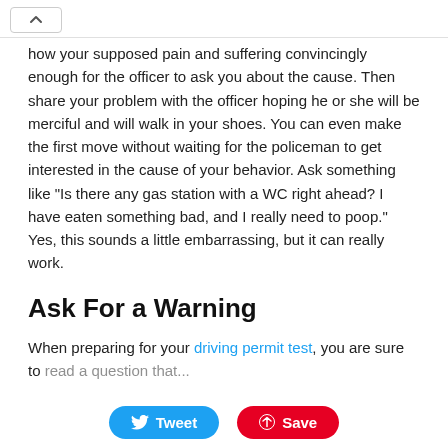[collapse button]
how your supposed pain and suffering convincingly enough for the officer to ask you about the cause. Then share your problem with the officer hoping he or she will be merciful and will walk in your shoes. You can even make the first move without waiting for the policeman to get interested in the cause of your behavior. Ask something like "Is there any gas station with a WC right ahead? I have eaten something bad, and I really need to poop." Yes, this sounds a little embarrassing, but it can really work.
Ask For a Warning
When preparing for your driving permit test, you are sure to
Tweet  Save